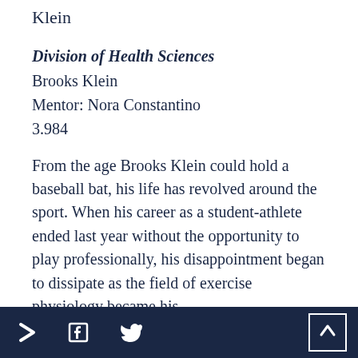Klein
Division of Health Sciences
Brooks Klein
Mentor: Nora Constantino
3.984
From the age Brooks Klein could hold a baseball bat, his life has revolved around the sport. When his career as a student-athlete ended last year without the opportunity to play professionally, his disappointment began to dissipate as the field of exercise physiology became his
> f twitter ^